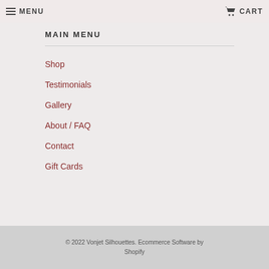MENU   CART
MAIN MENU
Shop
Testimonials
Gallery
About / FAQ
Contact
Gift Cards
© 2022 Vonjet Silhouettes. Ecommerce Software by Shopify